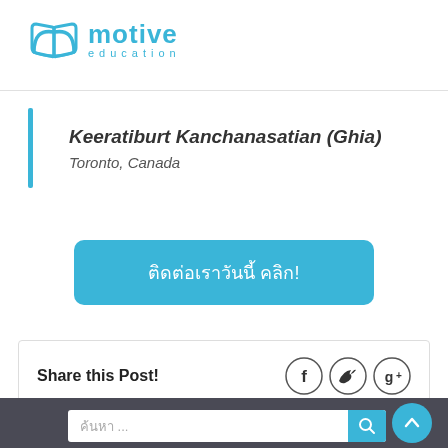[Figure (logo): Motive Education logo with open book icon in cyan/blue and text 'motive education']
Keeratiburt Kanchanasatian (Ghia)
Toronto, Canada
ติดต่อเราวันนี้ คลิก!
Share this Post!
[Figure (other): Social sharing icons: Facebook (f), Twitter (bird), Google+ (g+) in circular outlines]
ค้นหา ...